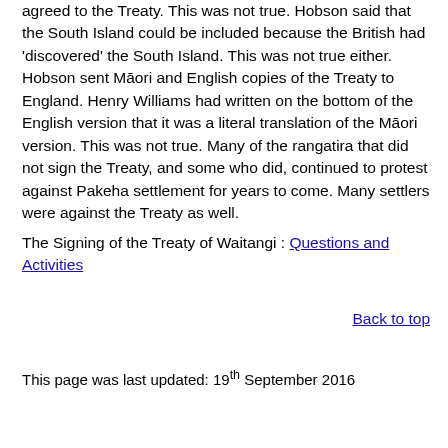agreed to the Treaty. This was not true. Hobson said that the South Island could be included because the British had 'discovered' the South Island. This was not true either. Hobson sent Māori and English copies of the Treaty to England. Henry Williams had written on the bottom of the English version that it was a literal translation of the Māori version. This was not true. Many of the rangatira that did not sign the Treaty, and some who did, continued to protest against Pakeha settlement for years to come. Many settlers were against the Treaty as well.
The Signing of the Treaty of Waitangi : Questions and Activities
Back to top
This page was last updated: 19th September 2016